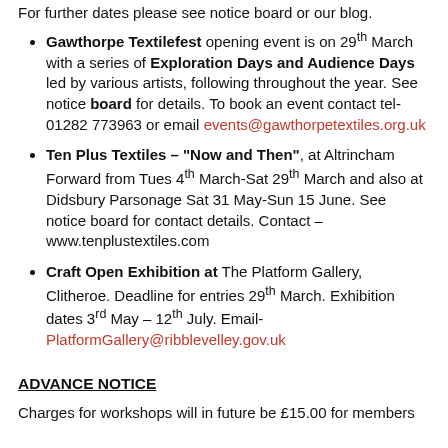For further dates please see notice board or our blog.
Gawthorpe Textilefest opening event is on 29th March with a series of Exploration Days and Audience Days led by various artists, following throughout the year. See notice board for details. To book an event contact tel- 01282 773963 or email events@gawthorpetextiles.org.uk
Ten Plus Textiles – "Now and Then", at Altrincham Forward from Tues 4th March-Sat 29th March and also at Didsbury Parsonage Sat 31 May-Sun 15 June. See notice board for contact details. Contact – www.tenplustextiles.com
Craft Open Exhibition at The Platform Gallery, Clitheroe. Deadline for entries 29th March. Exhibition dates 3rd May – 12th July. Email- PlatformGallery@ribblevelley.gov.uk
ADVANCE NOTICE
Charges for workshops will in future be £15.00 for members